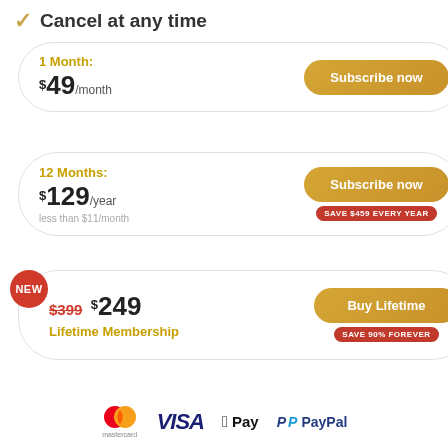✓ Cancel at any time
1 Month: $49/month
Subscribe now
12 Months: $129/year – less than $11/month
Subscribe now
SAVE $459 EVERY YEAR
NEW
$399 $249 Lifetime Membership
Buy Lifetime
SAVE 90% FOREVER
[Figure (logo): Payment method logos: Mastercard, VISA, Apple Pay, PayPal]